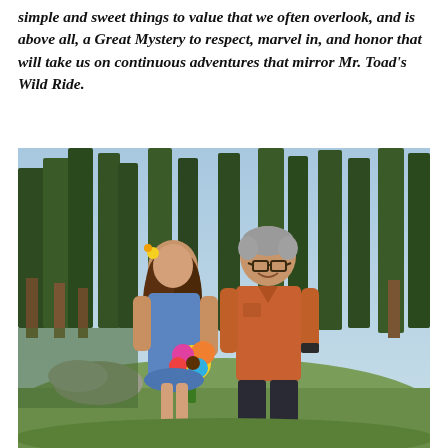simple and sweet things to value that we often overlook, and is above all, a Great Mystery to respect, marvel in, and honor that will take us on continuous adventures that mirror Mr. Toad's Wild Ride.
[Figure (photo): A man and a woman smiling and posing together outdoors in a pine forest. The woman is on the left wearing a blue dress and holding a colorful bouquet of flowers including sunflowers and gerbera daisies. The man is on the right wearing an orange short-sleeved shirt and glasses. Trees and green undergrowth are visible in the background.]